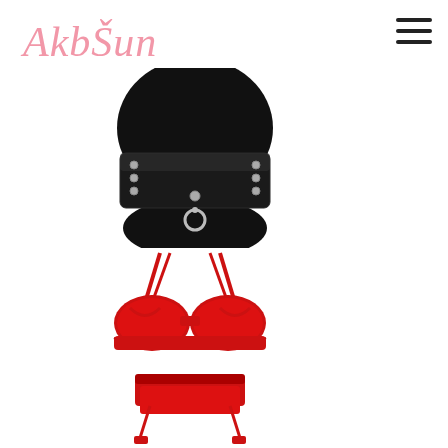[Figure (logo): AkbSun brand logo in pink cursive script]
[Figure (illustration): Hamburger menu icon with three horizontal lines]
[Figure (photo): Black latex/PVC wide waist cincher belt with silver ring detail worn on a figure in black clothing]
[Figure (photo): Red faux leather lingerie set with strappy bra and garter belt/shorts, displayed as flat lay]